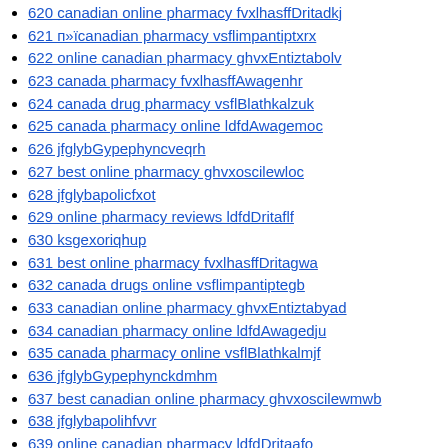620 canadian online pharmacy fvxlhasffDritadkj
621 п»їcanadian pharmacy vsflimpantiptxrx
622 online canadian pharmacy ghvxEntiztabolv
623 canada pharmacy fvxlhasffAwagenhr
624 canada drug pharmacy vsflBlathkalzuk
625 canada pharmacy online ldfdAwagemoc
626 jfglybGypephyncveqrh
627 best online pharmacy ghvxoscilewloc
628 jfglybapolicfxot
629 online pharmacy reviews ldfdDritaflf
630 ksgexoriqhup
631 best online pharmacy fvxlhasffDritagwa
632 canada drugs online vsflimpantiptegb
633 canadian online pharmacy ghvxEntiztabyad
634 canadian pharmacy online ldfdAwagedju
635 canada pharmacy online vsflBlathkalmjf
636 jfglybGypephynckdmhm
637 best canadian online pharmacy ghvxoscilewmwb
638 jfglybapolihfvvr
639 online canadian pharmacy ldfdDritaafo
640 ksgexoriovev
641 canada pharmacy vsflimpantiptpdg
642 canadian online pharmacy fvxlhasffAwagegxu
643 online canadian pharmacy ghvxEntiztabrim
644 jfglybGypephyncbfyqi
645 jfglybapolivfyri